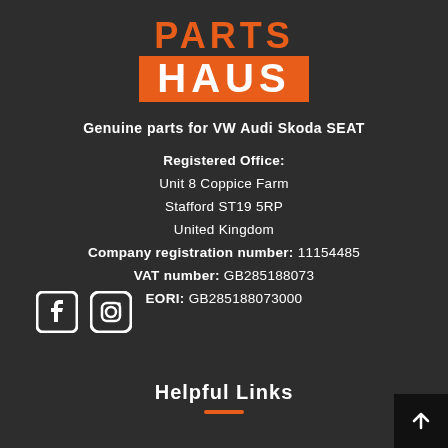[Figure (logo): Parts Haus logo: PARTS in orange text above HAUS in white text on orange background]
Genuine parts for VW Audi Skoda SEAT
Registered Office:
Unit 8 Coppice Farm
Stafford ST19 5RP
United Kingdom
Company registration number: 11154485
VAT number: GB285188073
EORI: GB285188073000
[Figure (logo): Social media icons: Facebook and Instagram]
Helpful Links